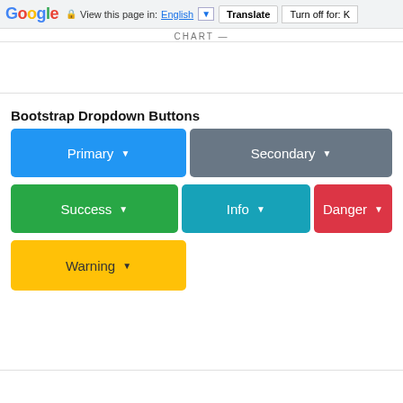Google  View this page in: English [▼]  Translate  Turn off for: K
CHART —
Bootstrap Dropdown Buttons
[Figure (screenshot): Bootstrap dropdown buttons in various colors: Primary (blue), Secondary (gray), Success (green), Info (teal), Danger (red), Warning (yellow)]